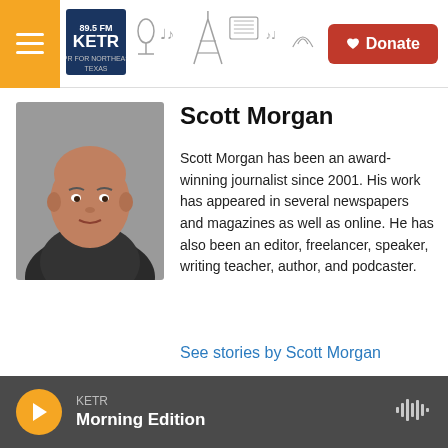KETR radio station header with menu, logo, decorative illustration, and Donate button
Scott Morgan
Scott Morgan has been an award-winning journalist since 2001. His work has appeared in several newspapers and magazines as well as online. He has also been an editor, freelancer, speaker, writing teacher, author, and podcaster.
See stories by Scott Morgan
KETR Morning Edition